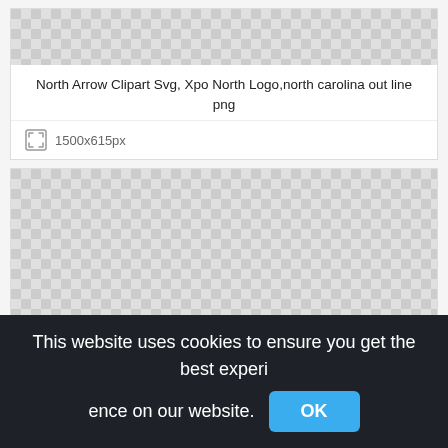[Figure (screenshot): Checkerboard transparency pattern for first image card]
North Arrow Clipart Svg, Xpo North Logo,north carolina out line png
1500x615px
[Figure (screenshot): Checkerboard transparency pattern for second image card]
This website uses cookies to ensure you get the best experience on our website. OK